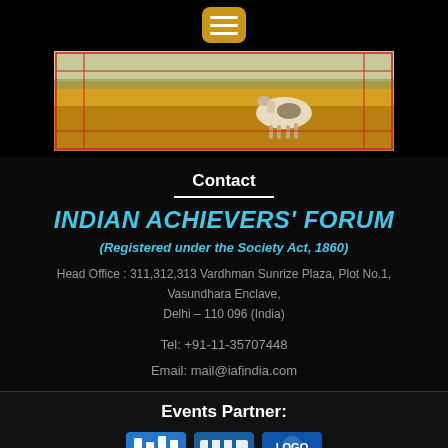[Figure (photo): Navigation bar with hamburger menu button in golden/amber color at top center on black background]
[Figure (photo): Hero image of a horse standing in a golden grassland/savanna field]
Contact
INDIAN ACHIEVERS’ FORUM
(Registered under the Society Act, 1860)
Head Office : 311,312,313 Vardhman Sunrize Plaza, Plot No.1, Vasundhara Enclave, Delhi – 110 096 (India)
Tel: +91-11-35707448
Email:  mail@iafindia.com
Events Partner:
[Figure (logo): Partial logos of events partner organizations visible at bottom]